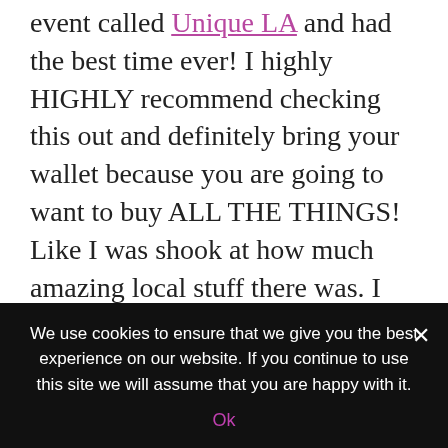event called Unique LA and had the best time ever! I highly HIGHLY recommend checking this out and definitely bring your wallet because you are going to want to buy ALL THE THINGS! Like I was shook at how much amazing local stuff there was. I also went by myself and stayed all day and had an absolute blast!
“Your dollars make a direct impact in your neighborhood! The entrepreneurs you shop from at Unique LA are...
We use cookies to ensure that we give you the best experience on our website. If you continue to use this site we will assume that you are happy with it. Ok